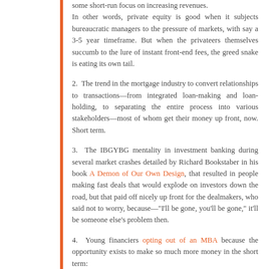some short-run focus on increasing revenues. In other words, private equity is good when it subjects bureaucratic managers to the pressure of markets, with say a 3-5 year timeframe. But when the privateers themselves succumb to the lure of instant front-end fees, the greed snake is eating its own tail.
2. The trend in the mortgage industry to convert relationships to transactions—from integrated loan-making and loan-holding, to separating the entire process into various stakeholders—most of whom get their money up front, now. Short term.
3. The IBGYBG mentality in investment banking during several market crashes detailed by Richard Bookstaber in his book A Demon of Our Own Design, that resulted in people making fast deals that would explode on investors down the road, but that paid off nicely up front for the dealmakers, who said not to worry, because—"I'll be gone, you'll be gone," it'll be someone else's problem then.
4. Young financiers opting out of an MBA because the opportunity exists to make so much more money in the short term: